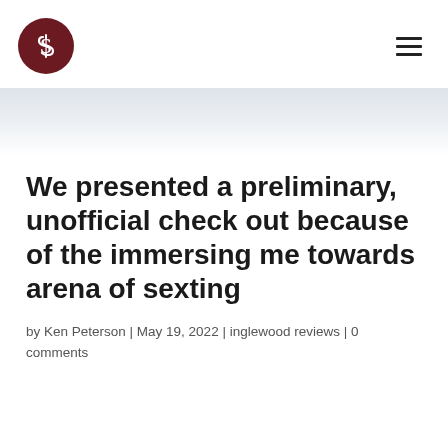[Figure (logo): Circular dark red logo with stylized 'IS' or 'J' letter mark in white]
We presented a preliminary, unofficial check out because of the immersing me towards arena of sexting
by Ken Peterson | May 19, 2022 | inglewood reviews | 0 comments